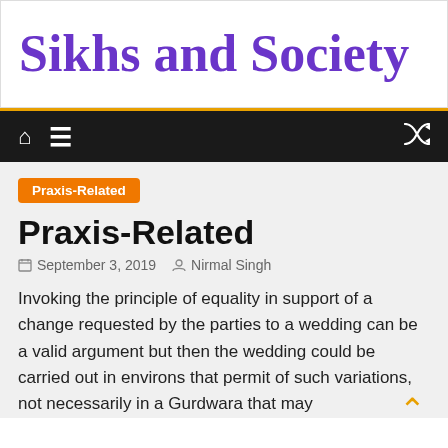Sikhs and Society
Navigation bar with home, menu, and shuffle icons
Praxis-Related
Praxis-Related
September 3, 2019  Nirmal Singh
Invoking the principle of equality in support of a change requested by the parties to a wedding can be a valid argument but then the wedding could be carried out in environs that permit of such variations, not necessarily in a Gurdwara that may